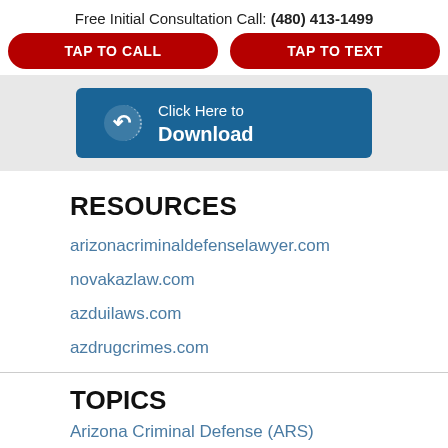Free Initial Consultation Call: (480) 413-1499
TAP TO CALL
TAP TO TEXT
[Figure (other): Blue download button with arrow icon and text 'Click Here to Download']
RESOURCES
arizonacriminaldefenselawyer.com
novakazlaw.com
azduilaws.com
azdrugcrimes.com
TOPICS
Arizona Criminal Defense (ARS)